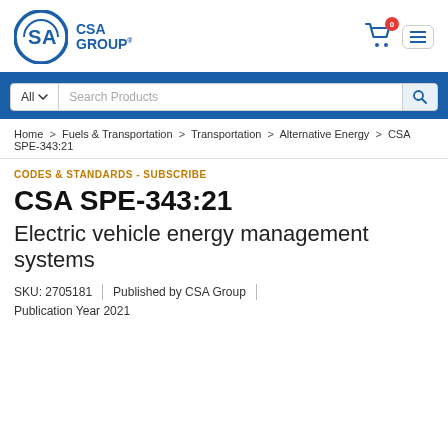[Figure (logo): CSA Group logo — circular blue 'SA' emblem with 'CSA GROUP' text in blue]
Search Products
Home > Fuels & Transportation > Transportation > Alternative Energy > CSA SPE-343:21
CODES & STANDARDS - SUBSCRIBE
CSA SPE-343:21
Electric vehicle energy management systems
SKU: 2705181 | Published by CSA Group
Publication Year 2021